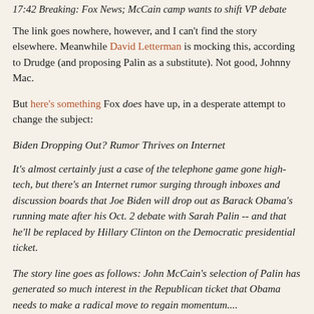17:42 Breaking: Fox News; McCain camp wants to shift VP debate
The link goes nowhere, however, and I can't find the story elsewhere. Meanwhile David Letterman is mocking this, according to Drudge (and proposing Palin as a substitute). Not good, Johnny Mac.
But here's something Fox does have up, in a desperate attempt to change the subject:
Biden Dropping Out? Rumor Thrives on Internet
It's almost certainly just a case of the telephone game gone high-tech, but there's an Internet rumor surging through inboxes and discussion boards that Joe Biden will drop out as Barack Obama's running mate after his Oct. 2 debate with Sarah Palin -- and that he'll be replaced by Hillary Clinton on the Democratic presidential ticket.
The story line goes as follows: John McCain's selection of Palin has generated so much interest in the Republican ticket that Obama needs to make a radical move to regain momentum....